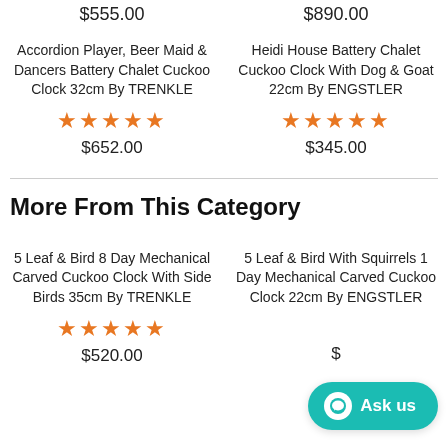$555.00
$890.00
Accordion Player, Beer Maid & Dancers Battery Chalet Cuckoo Clock 32cm By TRENKLE
Heidi House Battery Chalet Cuckoo Clock With Dog & Goat 22cm By ENGSTLER
★★★★★ $652.00
★★★★★ $345.00
More From This Category
5 Leaf & Bird 8 Day Mechanical Carved Cuckoo Clock With Side Birds 35cm By TRENKLE
5 Leaf & Bird With Squirrels 1 Day Mechanical Carved Cuckoo Clock 22cm By ENGSTLER
★★★★★ $520.00
$
Ask us